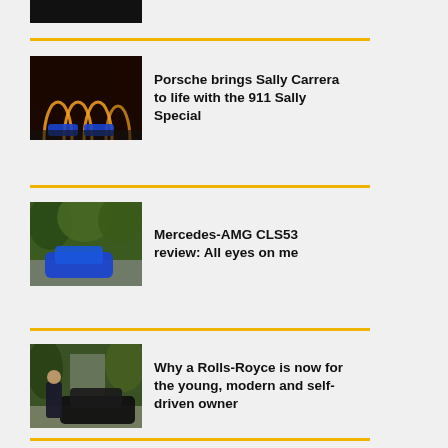[Figure (photo): Partial black image at top of page]
[Figure (photo): Porsche 911 Sally Special — blue Porsche cars under illuminated arches at night]
Porsche brings Sally Carrera to life with the 911 Sally Special
[Figure (photo): Mercedes-AMG CLS53 blue car on a tree-lined road]
Mercedes-AMG CLS53 review: All eyes on me
[Figure (photo): Man in suit standing beside a black Rolls-Royce car outdoors]
Why a Rolls-Royce is now for the young, modern and self-driven owner